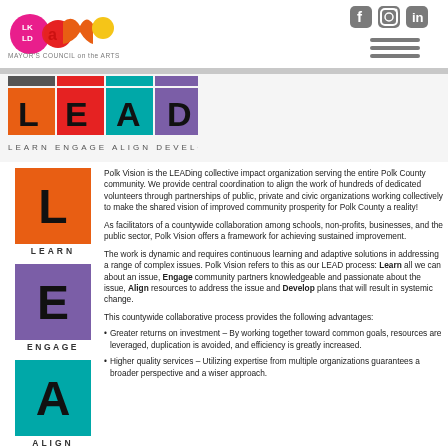[Figure (logo): LKLD Arts Mayor's Council on the Arts logo with colorful letters]
[Figure (logo): Social media icons: Facebook, Instagram, LinkedIn and hamburger menu]
[Figure (logo): LEAD logo - Learn Engage Align Develop colored squares]
[Figure (logo): L letter on orange square - LEARN icon]
[Figure (logo): E letter on purple square - ENGAGE icon]
[Figure (logo): A letter on teal square - ALIGN icon]
[Figure (logo): D letter on red square - partial DEVELOP icon]
Polk Vision is the LEADing collective impact organization serving the entire Polk County community. We provide central coordination to align the work of hundreds of dedicated volunteers through partnerships of public, private and civic organizations working collectively to make the shared vision of improved community prosperity for Polk County a reality!
As facilitators of a countywide collaboration among schools, non-profits, businesses, and the public sector, Polk Vision offers a framework for achieving sustained improvement.
The work is dynamic and requires continuous learning and adaptive solutions in addressing a range of complex issues. Polk Vision refers to this as our LEAD process: Learn all we can about an issue, Engage community partners knowledgeable and passionate about the issue, Align resources to address the issue and Develop plans that will result in systemic change.
This countywide collaborative process provides the following advantages:
Greater returns on investment – By working together toward common goals, resources are leveraged, duplication is avoided, and efficiency is greatly increased.
Higher quality services – Utilizing expertise from multiple organizations guarantees a broader perspective and a wiser approach.